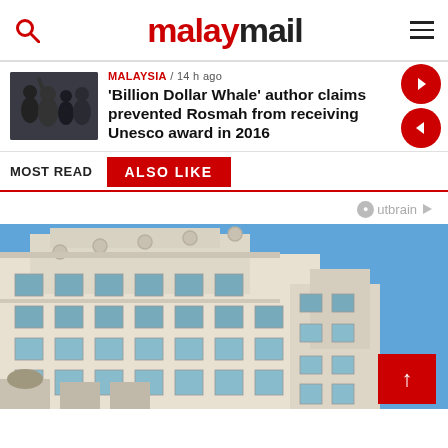malay mail
MALAYSIA / 14 h ago
'Billion Dollar Whale' author claims prevented Rosmah from receiving Unesco award in 2016
MOST READ | ALSO LIKE
Outbrain
[Figure (photo): Exterior of a large ornate white/light stone building against a bright blue sky, seen from below at an angle.]